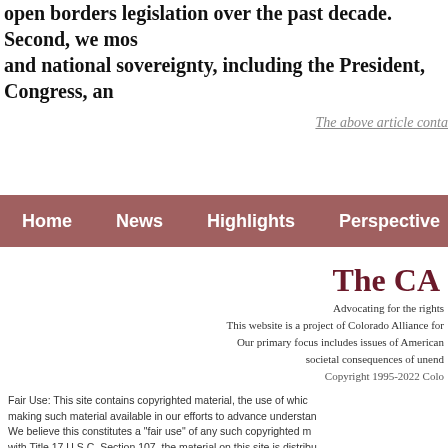open borders legislation over the past decade. Second, we mos... and national sovereignty, including the President, Congress, an...
The above article conta...
Home   News   Highlights   Perspective   Act...
The CA...
Advocating for the rights...
This website is a project of Colorado Alliance for...
Our primary focus includes issues of American...
societal consequences of unend...
Copyright 1995-2022 Colo...
Fair Use: This site contains copyrighted material, the use of whic... making such material available in our efforts to advance understan... We believe this constitutes a "fair use" of any such copyrighted m... with Title 17 U.S.C. Section 107, the material on this site is distribu... included information for research and educational purposes. https://www.law.cornell.edu/uscode/text/17/108, https://www.law.cornell.edu/wex/fair_use. In order to use copyright...